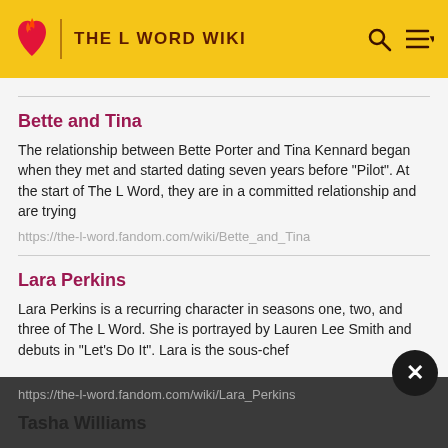THE L WORD WIKI
Bette and Tina
The relationship between Bette Porter and Tina Kennard began when they met and started dating seven years before "Pilot". At the start of The L Word, they are in a committed relationship and are trying
https://the-l-word.fandom.com/wiki/Bette_and_Tina
Lara Perkins
Lara Perkins is a recurring character in seasons one, two, and three of The L Word. She is portrayed by Lauren Lee Smith and debuts in "Let's Do It". Lara is the sous-chef
https://the-l-word.fandom.com/wiki/Lara_Perkins
Tasha Williams